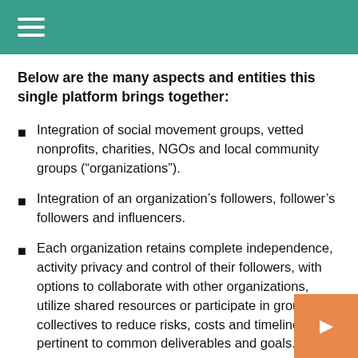Below are the many aspects and entities this single platform brings together:
Integration of social movement groups, vetted nonprofits, charities, NGOs and local community groups (“organizations”).
Integration of an organization’s followers, follower’s followers and influencers.
Each organization retains complete independence, activity privacy and control of their followers, with options to collaborate with other organizations, utilize shared resources or participate in group collectives to reduce risks, costs and timelines pertinent to common deliverables and goals.
Integration and turn-keying of complex operational workflows and processes common to